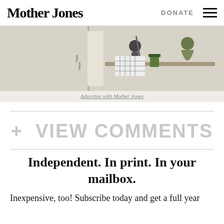Mother Jones    DONATE  ☰
[Figure (illustration): Editorial cartoon/illustration showing people around a table, with crossword puzzle imagery. Caption: Advertise with Mother Jones]
Advertise with Mother Jones
+ VIEW COMMENTS
Independent. In print. In your mailbox.
Inexpensive, too! Subscribe today and get a full year